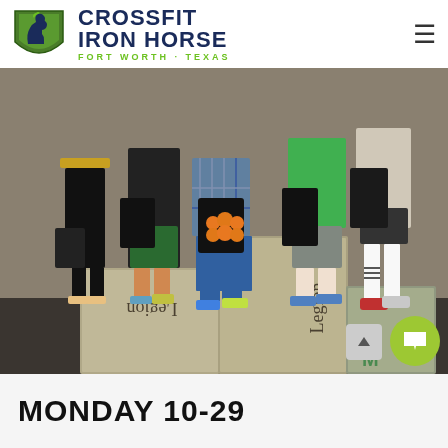[Figure (logo): CrossFit Iron Horse logo with green shield containing a horse head, bold navy text reading CROSSFIT IRON HORSE, and green subtitle FORT WORTH · TEXAS]
[Figure (photo): Group of people standing on wooden plyo boxes labeled Legion, arranged in podium formation (1st, 2nd, 3rd place). People are holding black tote bags. One child in middle holds a bag with orange pumpkin design. Shot from waist down showing legs and boxes.]
MONDAY 10-29